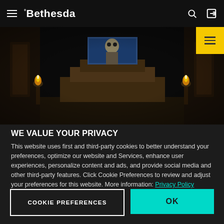Bethesda
[Figure (screenshot): Dark fantasy game screenshot showing a throne room scene with a skull-faced figure seated on a throne, flanked by torches, viewed from inside a dungeon corridor]
WE VALUE YOUR PRIVACY
This website uses first and third-party cookies to better understand your preferences, optimize our website and Services, enhance user experiences, personalize content and ads, and provide social media and other third-party features. Click Cookie Preferences to review and adjust your preferences for this website. More information: Privacy Policy
COOKIE PREFERENCES
OK